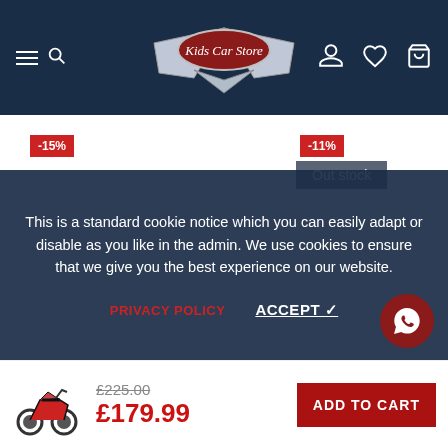[Figure (logo): Kids Car Store logo with chrome badge on dark navy header with hamburger/search icons on left and user/heart/cart icons on right]
-15%
-11%
Out stock
This is a standard cookie notice which you can easily adapt or disable as you like in the admin. We use cookies to ensure that we give you the best experience on our website.
PRIVACY POLICY
ACCEPT ✓
[Figure (illustration): WhatsApp circular button with phone icon, dark red background]
[Figure (photo): Small red and black children's motorcycle/dirt bike product thumbnail]
£225.00
£179.99
ADD TO CART